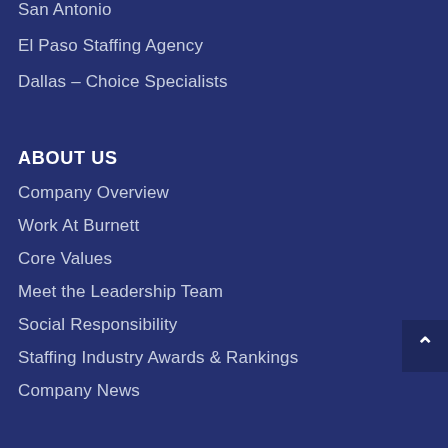San Antonio
El Paso Staffing Agency
Dallas – Choice Specialists
ABOUT US
Company Overview
Work At Burnett
Core Values
Meet the Leadership Team
Social Responsibility
Staffing Industry Awards & Rankings
Company News
CONNECT WITH US